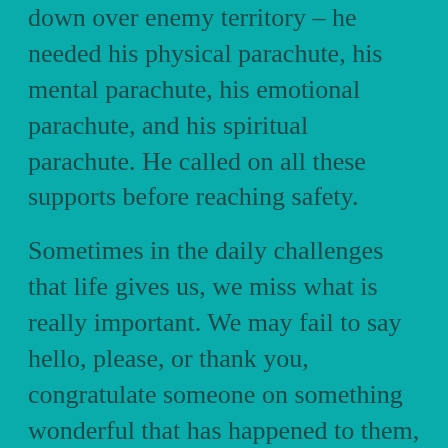down over enemy territory – he needed his physical parachute, his mental parachute, his emotional parachute, and his spiritual parachute. He called on all these supports before reaching safety.
Sometimes in the daily challenges that life gives us, we miss what is really important. We may fail to say hello, please, or thank you, congratulate someone on something wonderful that has happened to them, give a compliment, or just do something nice for no reason. As you go through this week, this month, this year, recognize people